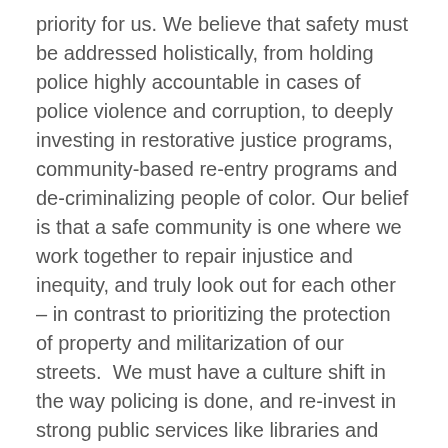priority for us. We believe that safety must be addressed holistically, from holding police highly accountable in cases of police violence and corruption, to deeply investing in restorative justice programs, community-based re-entry programs and de-criminalizing people of color. Our belief is that a safe community is one where we work together to repair injustice and inequity, and truly look out for each other – in contrast to prioritizing the protection of property and militarization of our streets.  We must have a culture shift in the way policing is done, and re-invest in strong public services like libraries and recreation programs that ensure safe, positive activities for Oakland's youth.
The current priorities of the Oakland City Council have contributed to the loss of racial and class diversity in our city, notably the sharp drop in our city's Black population.  We are supporting candidates who will focus on shifting those priorities to focus on displacement, police